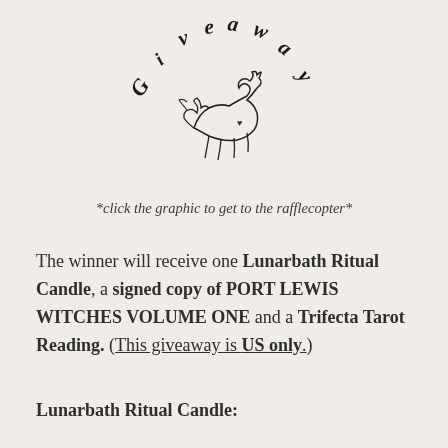[Figure (illustration): Hand-drawn sketch style 'Giveaway' text arched in a circle around an illustration of a reclining deer/fawn figure, with letters in a hatched/crosshatch drawing style]
*click the graphic to get to the rafflecopter*
The winner will receive one Lunarbath Ritual Candle, a signed copy of PORT LEWIS WITCHES VOLUME ONE and a Trifecta Tarot Reading. (This giveaway is US only.)
Lunarbath Ritual Candle: